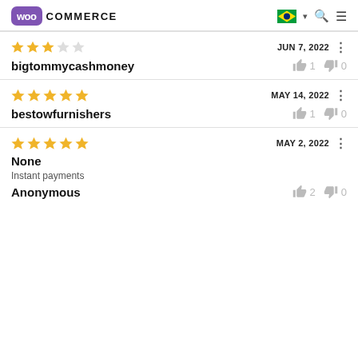WooCommerce
bigtommycashmoney — JUN 7, 2022 — 3 stars — thumbs up: 1, thumbs down: 0
bestowfurnishers — MAY 14, 2022 — 5 stars — thumbs up: 1, thumbs down: 0
Anonymous — MAY 2, 2022 — 5 stars — None — Instant payments — thumbs up: 2, thumbs down: 0